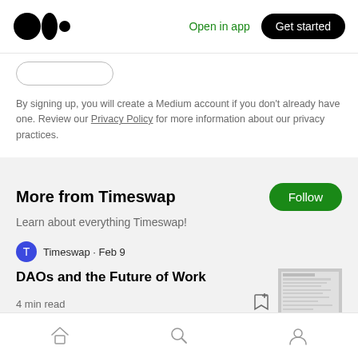Open in app   Get started
By signing up, you will create a Medium account if you don't already have one. Review our Privacy Policy for more information about our privacy practices.
More from Timeswap
Learn about everything Timeswap!
Timeswap · Feb 9
DAOs and the Future of Work
4 min read
Home  Search  Profile